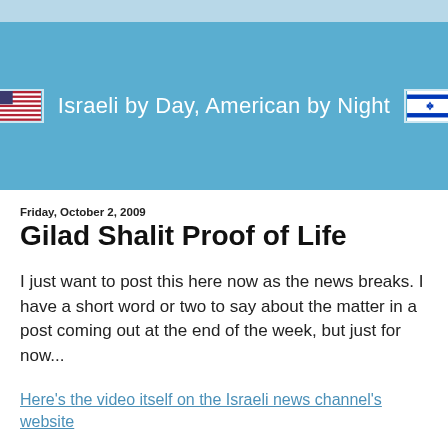[Figure (illustration): Blog header banner with light blue top bar and medium blue main area. Contains small US flag icon on left, text 'Israeli by Day, American by Night' in white, and small Israeli flag icon on right.]
Friday, October 2, 2009
Gilad Shalit Proof of Life
I just want to post this here now as the news breaks. I have a short word or two to say about the matter in a post coming out at the end of the week, but just for now...
Here's the video itself on the Israeli news channel's website
An article:
Link to original Jerusalem Post article